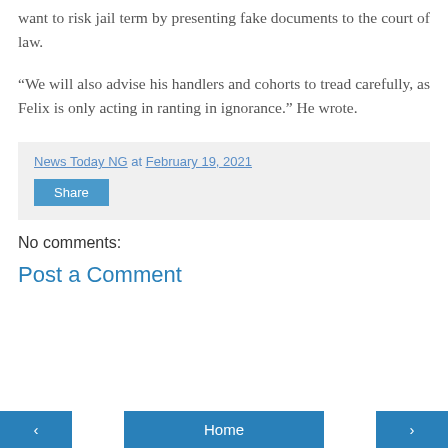want to risk jail term by presenting fake documents to the court of law.
“We will also advise his handlers and cohorts to tread carefully, as Felix is only acting in ranting in ignorance.” He wrote.
News Today NG at February 19, 2021
Share
No comments:
Post a Comment
‹ Home ›